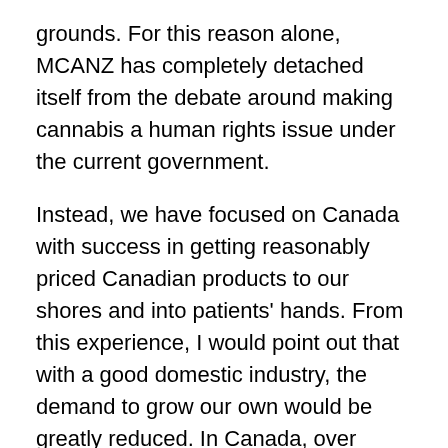grounds. For this reason alone, MCANZ has completely detached itself from the debate around making cannabis a human rights issue under the current government.
Instead, we have focused on Canada with success in getting reasonably priced Canadian products to our shores and into patients' hands. From this experience, I would point out that with a good domestic industry, the demand to grow our own would be greatly reduced. In Canada, over 200,000 patients are registered for access, yet less than six and a half thousand have permits to grow. This lack of desire to grow cannabis compared to that existing in New Zealand is directly linked to the ease of access. If licensed cannabis in NZ was stronger AND cheaper than illicit cannabis and already processed into edible forms, then the demand equation would shift quite rapidly and people wouldn't bother with the extra effort required